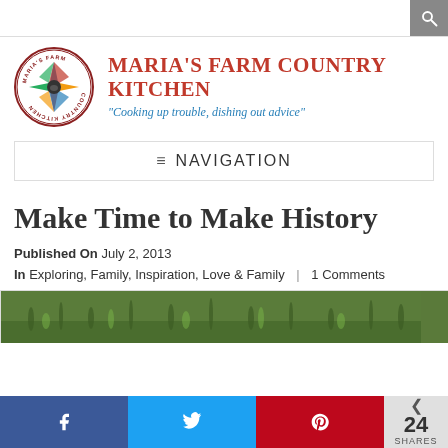[Figure (logo): Maria's Farm Country Kitchen circular logo with quilt star design]
MARIA'S FARM COUNTRY KITCHEN
"Cooking up trouble, dishing out advice"
NAVIGATION
Make Time to Make History
Published On July 2, 2013
In Exploring, Family, Inspiration, Love & Family | 1 Comments
[Figure (photo): Outdoor photo showing grass and ground, partial article image]
24 SHARES